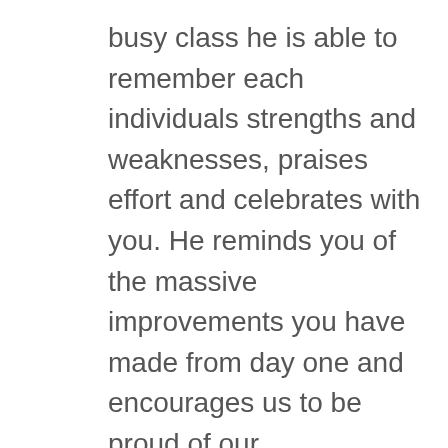busy class he is able to remember each individuals strengths and weaknesses, praises effort and celebrates with you. He reminds you of the massive improvements you have made from day one and encourages us to be proud of our achievements. Andrew is approachable and very easy to talk to. He is always willing to have a chat after class and offer advice with regards to recovery and next steps. He has a genuine interest in helping you achieve your goals.
In 3 months I have gone from struggling to do Push-Ups on a 24” box to completing a WOD consisting of 50 strict Push-Ups. This